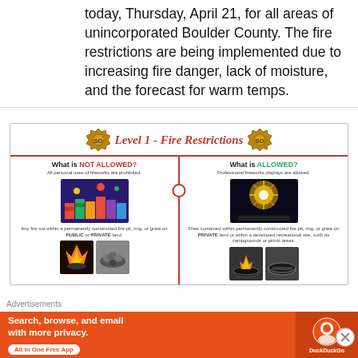today, Thursday, April 21, for all areas of unincorporated Boulder County. The fire restrictions are being implemented due to increasing fire danger, lack of moisture, and the forecast for warm temps.
[Figure (infographic): Level 1 - Fire Restrictions infographic showing two columns: 'What is NOT ALLOWED?' (all personal uses of fireworks are prohibited; any fire not within a permanently constructed fire pit, ring, or grate on PUBLIC or PRIVATE land) and 'What is ALLOWED?' (Professional fireworks displays are allowed; Fires contained within permanently constructed fire pit, ring, or grate on PRIVATE land or within a developed recreational site, such as campgrounds or picnic areas). Boulder County Sheriff badge logos appear on left and right of header.]
19   213
Jessica Fitzgerald ( Retweeted
Advertisements
[Figure (infographic): DuckDuckGo advertisement banner: 'Search, browse, and email with more privacy. All in One Free App' with DuckDuckGo logo on orange background.]